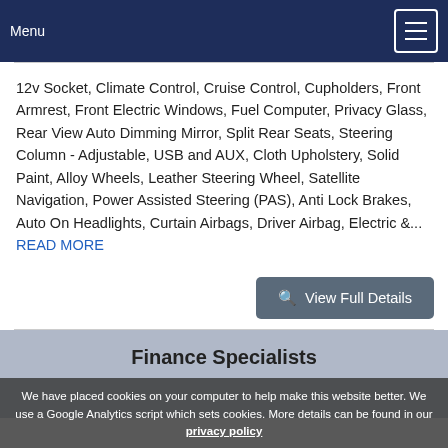Menu
12v Socket, Climate Control, Cruise Control, Cupholders, Front Armrest, Front Electric Windows, Fuel Computer, Privacy Glass, Rear View Auto Dimming Mirror, Split Rear Seats, Steering Column - Adjustable, USB and AUX, Cloth Upholstery, Solid Paint, Alloy Wheels, Leather Steering Wheel, Satellite Navigation, Power Assisted Steering (PAS), Anti Lock Brakes, Auto On Headlights, Curtain Airbags, Driver Airbag, Electric &... READ MORE
[Figure (other): View Full Details button with search icon]
Finance Specialists
We have placed cookies on your computer to help make this website better. We use a Google Analytics script which sets cookies. More details can be found in our privacy policy